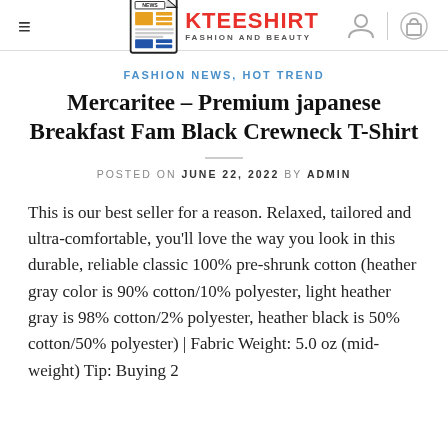KTEESHIRT – FASHION AND BEAUTY
FASHION NEWS, HOT TREND
Mercaritee – Premium japanese Breakfast Fam Black Crewneck T-Shirt
POSTED ON JUNE 22, 2022 BY ADMIN
This is our best seller for a reason. Relaxed, tailored and ultra-comfortable, you'll love the way you look in this durable, reliable classic 100% pre-shrunk cotton (heather gray color is 90% cotton/10% polyester, light heather gray is 98% cotton/2% polyester, heather black is 50% cotton/50% polyester) | Fabric Weight: 5.0 oz (mid-weight) Tip: Buying 2